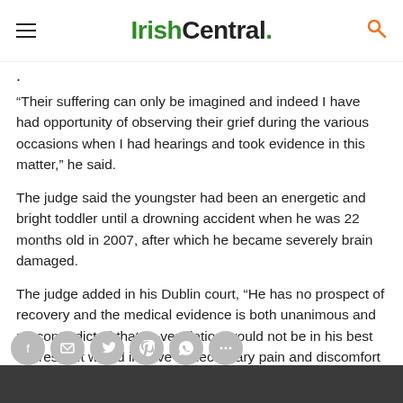IrishCentral.
.
“Their suffering can only be imagined and indeed I have had opportunity of observing their grief during the various occasions when I had hearings and took evidence in this matter,” he said.
The judge said the youngster had been an energetic and bright toddler until a drowning accident when he was 22 months old in 2007, after which he became severely brain damaged.
The judge added in his Dublin court, “He has no prospect of recovery and the medical evidence is both unanimous and un-contradicted that re-ventilation would not be in his best interests. It would involve unnecessary pain and discomfort and would be fu…